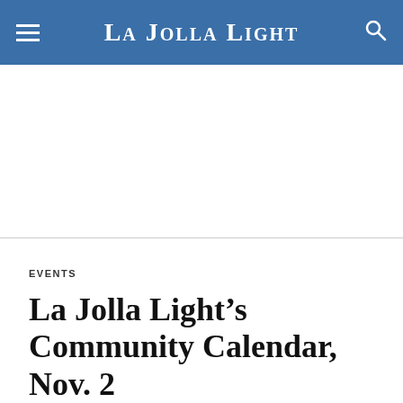La Jolla Light
EVENTS
La Jolla Light's Community Calendar, Nov. 2
NOV. 1, 2017  12:20 PM PT